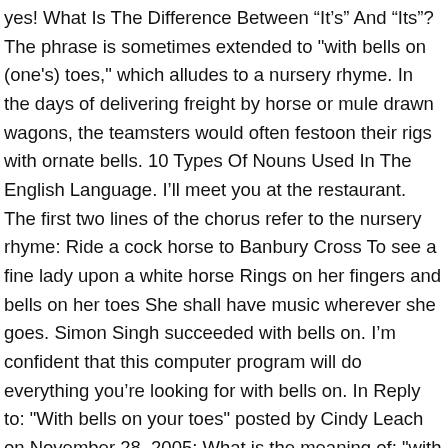yes! What Is The Difference Between “It’s” And “Its”? The phrase is sometimes extended to "with bells on (one's) toes," which alludes to a nursery rhyme. In the days of delivering freight by horse or mule drawn wagons, the teamsters would often festoon their rigs with ornate bells. 10 Types Of Nouns Used In The English Language. I’ll meet you at the restaurant. The first two lines of the chorus refer to the nursery rhyme: Ride a cock horse to Banbury Cross To see a fine lady upon a white horse Rings on her fingers and bells on her toes She shall have music wherever she goes. Simon Singh succeeded with bells on. I’m confident that this computer program will do everything you’re looking for with bells on. In Reply to: "With bells on your toes" posted by Cindy Leach on November 28, 2005: What is the meaning of: "with bells on your toes" The New Dictionary of Cultural Literacy, Third Edition. If they became stuck or otherwise needed help from another teamster, they had to "pay" the one helping them get out of trouble by giving him or her some of their bells. In the